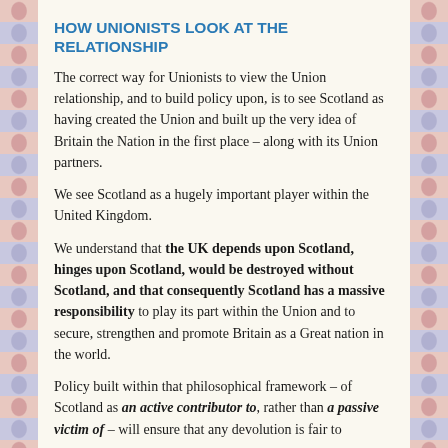HOW UNIONISTS LOOK AT THE RELATIONSHIP
The correct way for Unionists to view the Union relationship, and to build policy upon, is to see Scotland as having created the Union and built up the very idea of Britain the Nation in the first place – along with its Union partners.
We see Scotland as a hugely important player within the United Kingdom.
We understand that the UK depends upon Scotland, hinges upon Scotland, would be destroyed without Scotland, and that consequently Scotland has a massive responsibility to play its part within the Union and to secure, strengthen and promote Britain as a Great nation in the world.
Policy built within that philosophical framework – of Scotland as an active contributor to, rather than a passive victim of – will ensure that any devolution is fair to